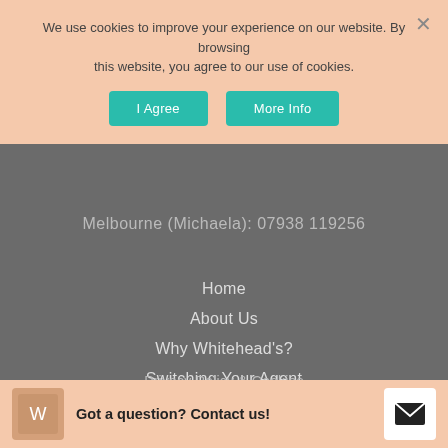We use cookies to improve your experience on our website. By browsing this website, you agree to our use of cookies.
I Agree
More Info
Melbourne (Michaela): 07938 119256
Home
About Us
Why Whitehead's?
Switching Your Agent
Our Areas
Search Properties
Contact Us
Privacy Policy & Cookies
© Whitehead's Estate Agents Ltd. All rights reserved
Got a question? Contact us!